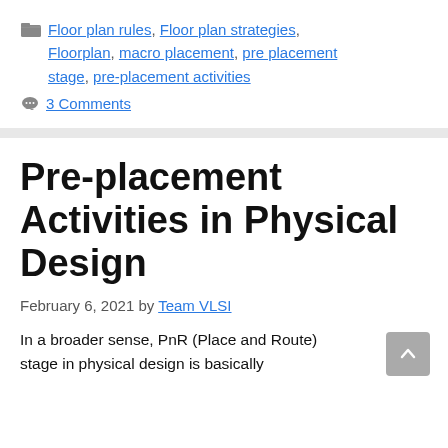Floor plan rules, Floor plan strategies, Floorplan, macro placement, pre placement stage, pre-placement activities
3 Comments
Pre-placement Activities in Physical Design
February 6, 2021 by Team VLSI
In a broader sense, PnR (Place and Route) stage in physical design is basically